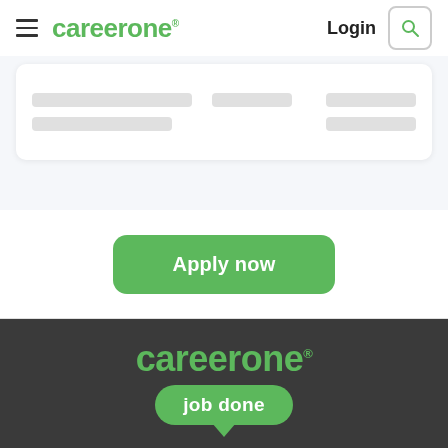careerone Login
[Figure (screenshot): Skeleton loading card with grey placeholder bars]
[Figure (other): Green Apply now button]
[Figure (logo): Careerone logo with 'job done' speech bubble tagline on dark background]